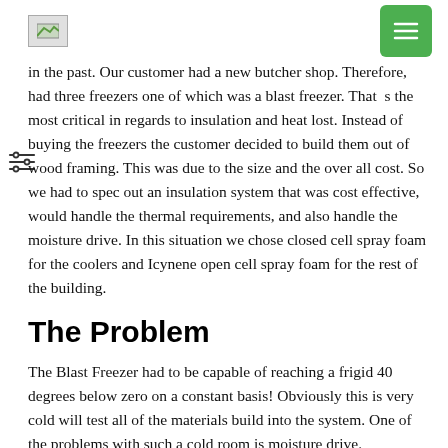[logo] [menu button]
in the past. Our customer had a new butcher shop. Therefore, had three freezers one of which was a blast freezer. That s the most critical in regards to insulation and heat lost. Instead of buying the freezers the customer decided to build them out of wood framing. This was due to the size and the over all cost. So we had to spec out an insulation system that was cost effective, would handle the thermal requirements, and also handle the moisture drive. In this situation we chose closed cell spray foam for the coolers and Icynene open cell spray foam for the rest of the building.
The Problem
The Blast Freezer had to be capable of reaching a frigid 40 degrees below zero on a constant basis! Obviously this is very cold will test all of the materials build into the system. One of the problems with such a cold room is moisture drive.